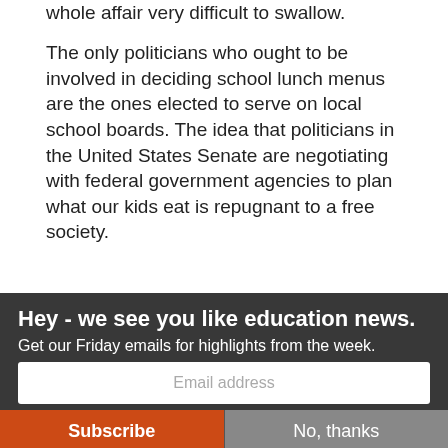whole affair very difficult to swallow.
The only politicians who ought to be involved in deciding school lunch menus are the ones elected to serve on local school boards. The idea that politicians in the United States Senate are negotiating with federal government agencies to plan what our kids eat is repugnant to a free society.
[Figure (screenshot): Teal banner with a person photo and partially visible text]
Hey - we see you like education news.
Get our Friday emails for highlights from the week.
Email address
Subscribe
No, thanks